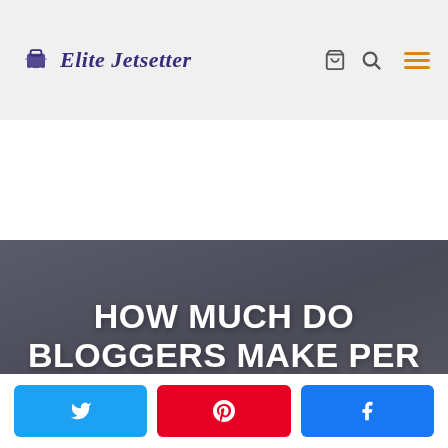[Figure (logo): Elite Jetsetter website logo with cart and search icons and hamburger menu in header]
HOW MUCH DO BLOGGERS MAKE PER MONTH?: MARCH 2017 EDITION
[Figure (infographic): Social share buttons: Twitter, Pinterest, Facebook]